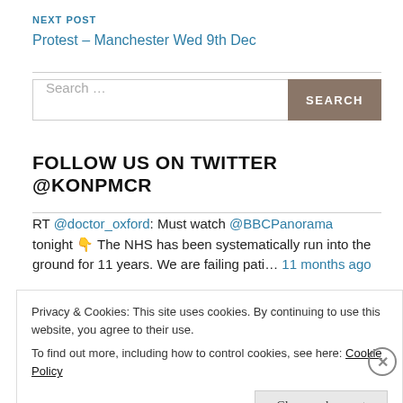NEXT POST
Protest – Manchester Wed 9th Dec
Search …
FOLLOW US ON TWITTER @KONPMCR
RT @doctor_oxford: Must watch @BBCPanorama tonight 👇 The NHS has been systematically run into the ground for 11 years. We are failing pati… 11 months ago
Privacy & Cookies: This site uses cookies. By continuing to use this website, you agree to their use.
To find out more, including how to control cookies, see here: Cookie Policy
Close and accept